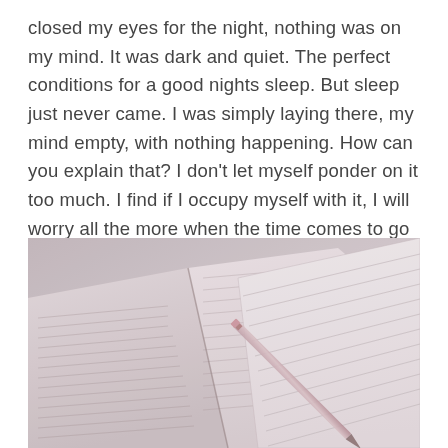closed my eyes for the night, nothing was on my mind. It was dark and quiet. The perfect conditions for a good nights sleep. But sleep just never came. I was simply laying there, my mind empty, with nothing happening. How can you explain that? I don't let myself ponder on it too much. I find if I occupy myself with it, I will worry all the more when the time comes to go to bed. Nowadays, after several years, I have come to accept the situation and try and get on with the day as best I can.
[Figure (photo): Photo of open books and a pen/pencil resting on a lined notebook, viewed from above at an angle. Vintage/muted color tone with pinkish-purple tint.]